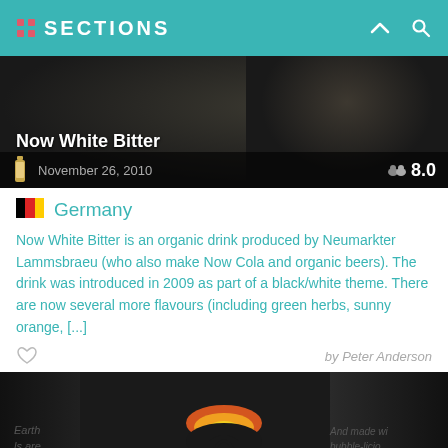SECTIONS
[Figure (photo): Hero image of Now White Bitter drink with dark background, bottle icon, date November 26, 2010, and rating 8.0]
Germany
Now White Bitter is an organic drink produced by Neumarkter Lammsbraeu (who also make Now Cola and organic beers). The drink was introduced in 2009 as part of a black/white theme. There are now several more flavours (including green herbs, sunny orange, [...]
by Peter Anderson
[Figure (photo): Close-up photo of Whole Earth branded drink bottles/cans with visible text 'whole earth', 'And made with bubble-licious sparkling H2O', and partial text 'Earth ...ls are ...icious']